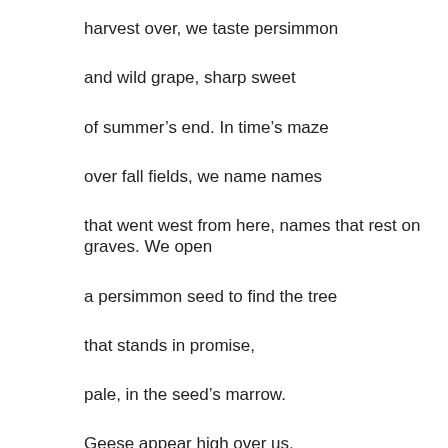harvest over, we taste persimmon
and wild grape, sharp sweet
of summer’s end. In time’s maze
over fall fields, we name names
that went west from here, names that rest on graves. We open
a persimmon seed to find the tree
that stands in promise,
pale, in the seed’s marrow.
Geese appear high over us,